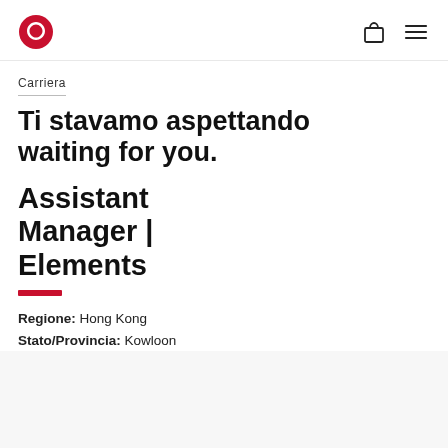lululemon logo | bag icon | menu icon
Carriera
Ti stavamo aspettando waiting for you.
Assistant Manager | Elements
Regione: Hong Kong
Stato/Provincia: Kowloon